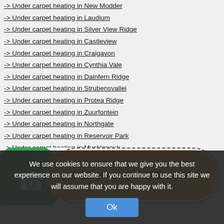-> Under carpet heating in New Modder
-> Under carpet heating in Laudium
-> Under carpet heating in Silver View Ridge
-> Under carpet heating in Castleview
-> Under carpet heating in Craigavon
-> Under carpet heating in Cynthia Vale
-> Under carpet heating in Dainfern Ridge
-> Under carpet heating in Strubensvallei
-> Under carpet heating in Protea Ridge
-> Under carpet heating in Zuurfontein
-> Under carpet heating in Northgate
-> Under carpet heating in Reservoir Park
-> Under carpet heating in Muckleneuk
[Figure (infographic): Green phone icon circle on left, yellow rounded rectangle CTA banner with dashed border showing 'GET your QUOTE now!' text]
We use cookies to ensure that we give you the best experience on our website. If you continue to use this site we will assume that you are happy with it.
Ok